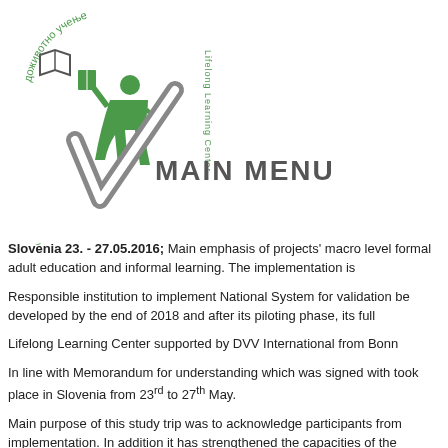[Figure (logo): Lifelong Learning Center logo with circular text in Cyrillic and a green figure with books, and vertical 'Learning Center' text]
MAIN MENU
Slovenia 23. - 27.05.2016; Main emphasis of projects' macro level formal adult education and informal learning. The implementation is
Responsible institution to implement National System for validation be developed by the end of 2018 and after its piloting phase, its full
Lifelong Learning Center supported by DVV International from Bonn
In line with Memorandum for understanding which was signed with took place in Slovenia from 23rd to 27th May.
Main purpose of this study trip was to acknowledge participants from implementation. In addition it has strengthened the capacities of the
Slovenian Institute for Adult Education developed the program and institutions which implement Slovenian system and to learn from the Vocational education and training Center, Institute for Adult education for adult education which perform evaluation of competences and s